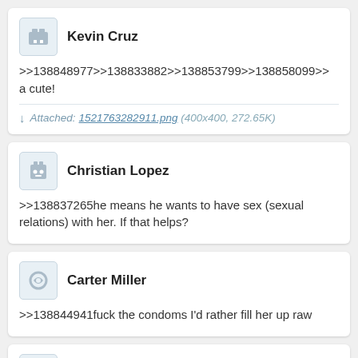Kevin Cruz
>>138848977>>138833882>>138853799>>138858099>>
a cute!
Attached: 1521763282911.png (400x400, 272.65K)
Christian Lopez
>>138837265he means he wants to have sex (sexual relations) with her. If that helps?
Carter Miller
>>138844941fuck the condoms I'd rather fill her up raw
James Gutierrez
>>138851884that will get the director rape charges this